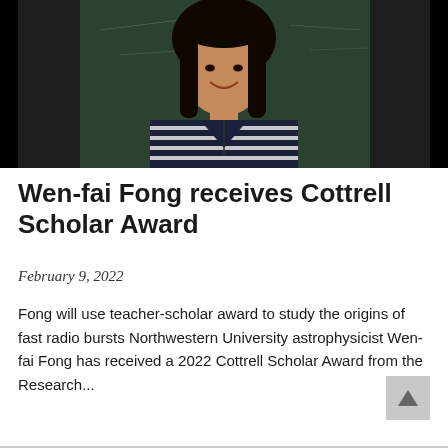[Figure (photo): A smiling woman with long dark hair wearing a navy and white striped top, standing in front of a chalkboard with equations. This appears to be Northwestern University astrophysicist Wen-fai Fong.]
Wen-fai Fong receives Cottrell Scholar Award
February 9, 2022
Fong will use teacher-scholar award to study the origins of fast radio bursts Northwestern University astrophysicist Wen-fai Fong has received a 2022 Cottrell Scholar Award from the Research...